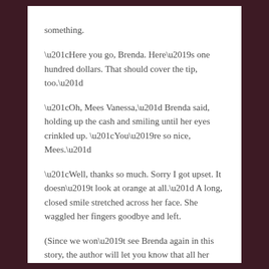something.
“Here you go, Brenda. Here’s one hundred dollars. That should cover the tip, too.”
“Oh, Mees Vanessa,” Brenda said, holding up the cash and smiling until her eyes crinkled up. “You’re so nice, Mees.”
“Well, thanks so much. Sorry I got upset. It doesn’t look at orange at all.” A long, closed smile stretched across her face. She waggled her fingers goodbye and left.
(Since we won’t see Brenda again in this story, the author will let you know that all her hair fell out that night.)